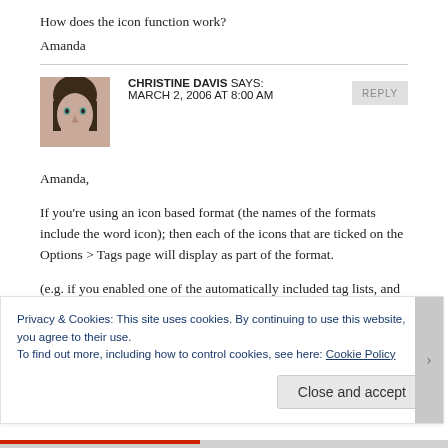How does the icon function work?
Amanda
CHRISTINE DAVIS SAYS:
MARCH 2, 2006 AT 8:00 AM
Amanda,

If you're using an icon based format (the names of the formats include the word icon); then each of the icons that are ticked on the Options > Tags page will display as part of the format.

(e.g. if you enabled one of the automatically included tag lists, and chose the iconlist format; it'd display the
Privacy & Cookies: This site uses cookies. By continuing to use this website, you agree to their use.
To find out more, including how to control cookies, see here: Cookie Policy